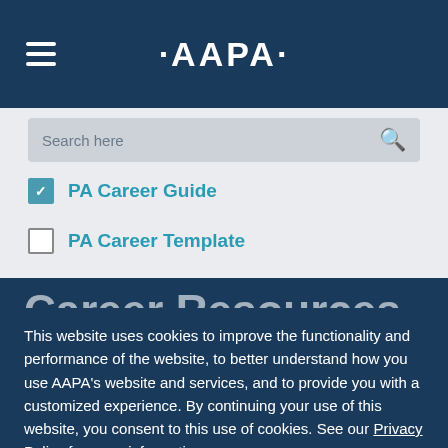AAPA
Search here
PA Career Guide (checked)
PA Career Template (unchecked)
Career Resources
This website uses cookies to improve the functionality and performance of the website, to better understand how you use AAPA's website and services, and to provide you with a customized experience. By continuing your use of this website, you consent to this use of cookies. See our Privacy Policy for more information.
GOT IT!